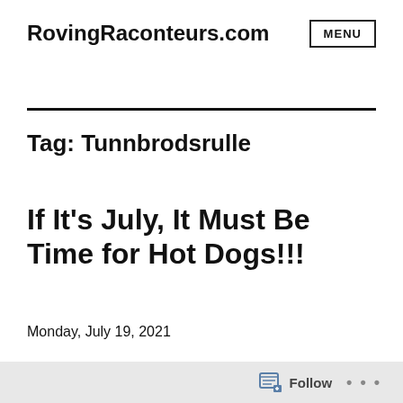RovingRaconteurs.com
Tag: Tunnbrodsrulle
If It’s July, It Must Be Time for Hot Dogs!!!
Monday, July 19, 2021
Follow …